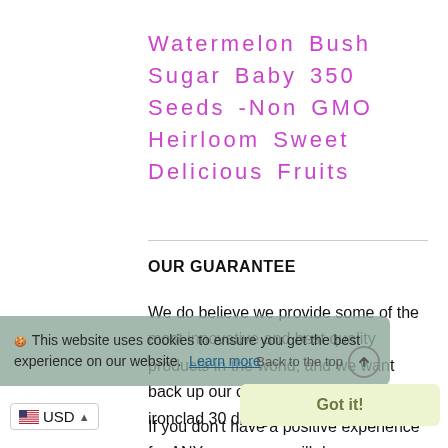Watermelon Bush Sugar Baby 350 Seeds -Non GMO Heirloom Sweet Delicious Fruits
OUR GUARANTEE
We do believe we provide some of the most innovative and best quality products in the world, and we want back up our credibility with a risk-free ironclad 30 day guarantee.
If you don't have a positive experience for ANY reason, we will do WHATEVER it